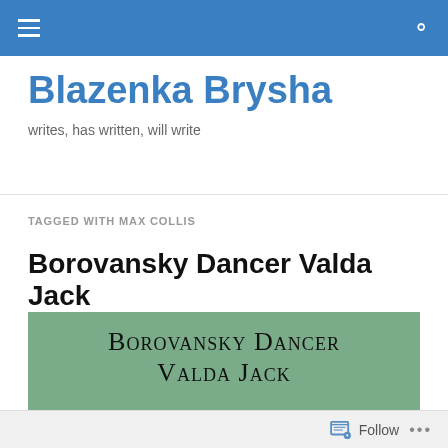Navigation bar with hamburger menu and search icon
Blazenka Brysha
writes, has written, will write
TAGGED WITH MAX COLLIS
Borovansky Dancer Valda Jack
[Figure (photo): Book cover showing 'Borovansky Dancer Valda Jack' in small-caps serif font against a green leafy background]
Follow ...